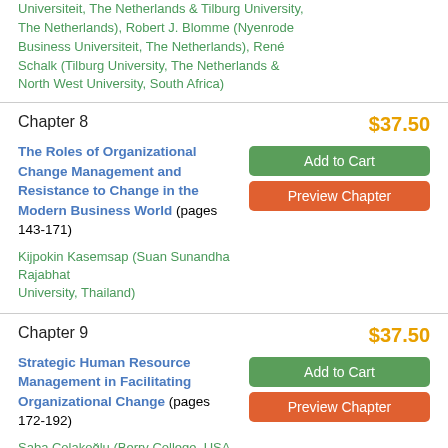Universiteit, The Netherlands & Tilburg University, The Netherlands), Robert J. Blomme (Nyenrode Business Universiteit, The Netherlands), René Schalk (Tilburg University, The Netherlands & North West University, South Africa)
Chapter 8
$37.50
The Roles of Organizational Change Management and Resistance to Change in the Modern Business World (pages 143-171)
Kijpokin Kasemsap (Suan Sunandha Rajabhat University, Thailand)
Chapter 9
$37.50
Strategic Human Resource Management in Facilitating Organizational Change (pages 172-192)
Saba Çolakoğlu (Berry College, USA & Koç University, Turkey), Yun Chung (University of Idaho, USA), Ayşe Buyçe Tarhan (ABT Consulting, Turkey)